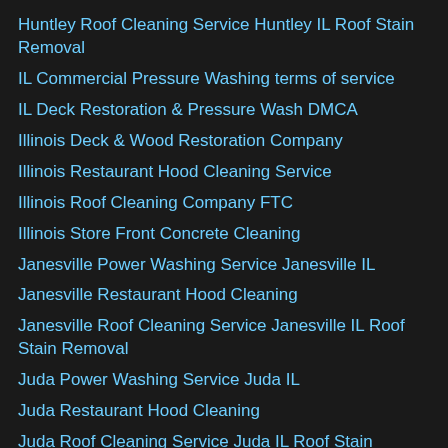Huntley Roof Cleaning Service Huntley IL Roof Stain Removal
IL Commercial Pressure Washing terms of service
IL Deck Restoration & Pressure Wash DMCA
Illinois Deck & Wood Restoration Company
Illinois Restaurant Hood Cleaning Service
Illinois Roof Cleaning Company FTC
Illinois Store Front Concrete Cleaning
Janesville Power Washing Service Janesville IL
Janesville Restaurant Hood Cleaning
Janesville Roof Cleaning Service Janesville IL Roof Stain Removal
Juda Power Washing Service Juda IL
Juda Restaurant Hood Cleaning
Juda Roof Cleaning Service Juda IL Roof Stain Removal
Lake Geneva Power Washing Service Lake Geneva IL
Lake Geneva Restaurant Hood Cleaning